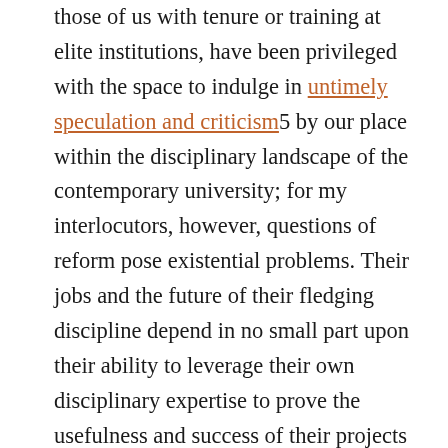those of us with tenure or training at elite institutions, have been privileged with the space to indulge in untimely speculation and criticism5 by our place within the disciplinary landscape of the contemporary university; for my interlocutors, however, questions of reform pose existential problems. Their jobs and the future of their fledging discipline depend in no small part upon their ability to leverage their own disciplinary expertise to prove the usefulness and success of their projects within a science system notoriously resistant to organizational innovation.
Untimeliness has its place, and in evaluating these